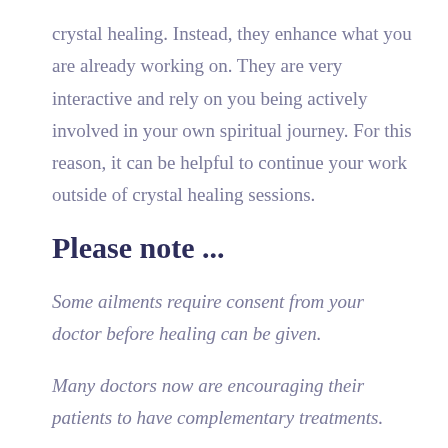crystal healing. Instead, they enhance what you are already working on. They are very interactive and rely on you being actively involved in your own spiritual journey. For this reason, it can be helpful to continue your work outside of crystal healing sessions.
Please note ...
Some ailments require consent from your doctor before healing can be given.
Many doctors now are encouraging their patients to have complementary treatments.